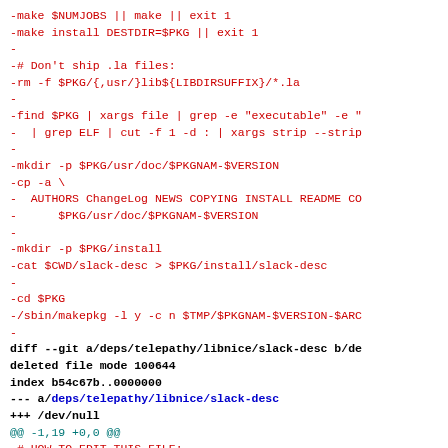Code diff showing shell script lines and git diff output for deps/telepathy/libnice/slack-desc